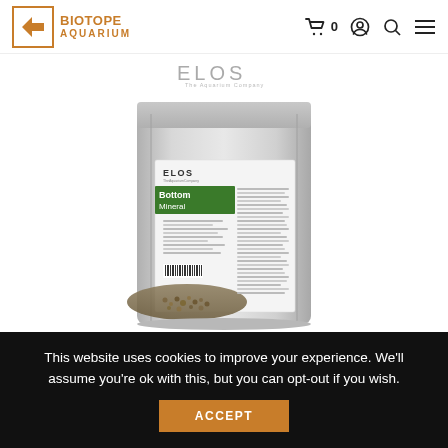BIOTOPE AQUARIUM
[Figure (photo): Silver foil bag of ELOS Bottom Mineral aquarium substrate product, with white label showing 'Bottom Mineral' in a green band, ELOS logo, and gravel visible at the bottom of the bag. Above the bag is the ELOS The Aquarium Company logo.]
This website uses cookies to improve your experience. We'll assume you're ok with this, but you can opt-out if you wish.
ACCEPT